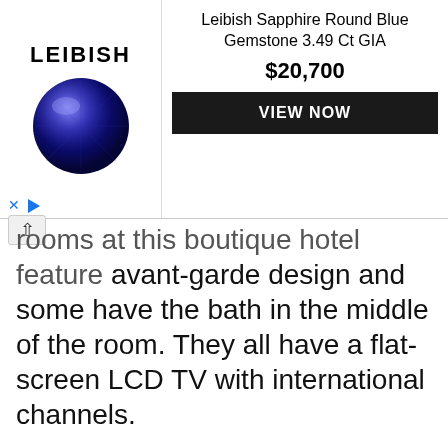[Figure (other): Leibish advertisement banner featuring a round blue sapphire gemstone, the Leibish logo, product title 'Leibish Sapphire Round Blue Gemstone 3.49 Ct GIA', price '$20,700', and a dark 'VIEW NOW' button]
rooms at this boutique hotel feature avant-garde design and some have the bath in the middle of the room. They all have a flat-screen LCD TV with international channels.
The property has a lounge with views over Passeig de Gràcia as well as an outdoor terrace.
Eurostars BCN Design is under 5 minutes' walk from Gaudí's Casa Batlló and La Pedrera. It is just 300 m from Passeig de